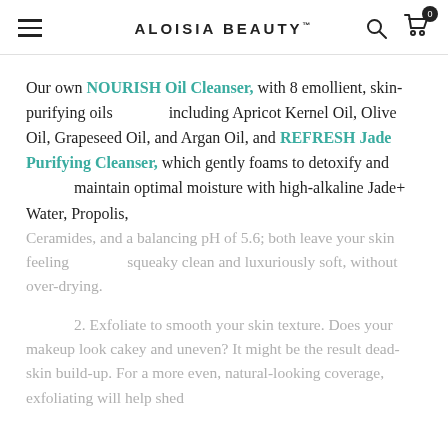ALOISIA BEAUTY™
Our own NOURISH Oil Cleanser, with 8 emollient, skin-purifying oils including Apricot Kernel Oil, Olive Oil, Grapeseed Oil, and Argan Oil, and REFRESH Jade Purifying Cleanser, which gently foams to detoxify and maintain optimal moisture with high-alkaline Jade+ Water, Propolis,
Ceramides, and a balancing pH of 5.6; both leave your skin feeling squeaky clean and luxuriously soft, without over-drying.
2. Exfoliate to smooth your skin texture. Does your makeup look cakey and uneven? It might be the result dead-skin build-up. For a more even, natural-looking coverage, exfoliating will help shed